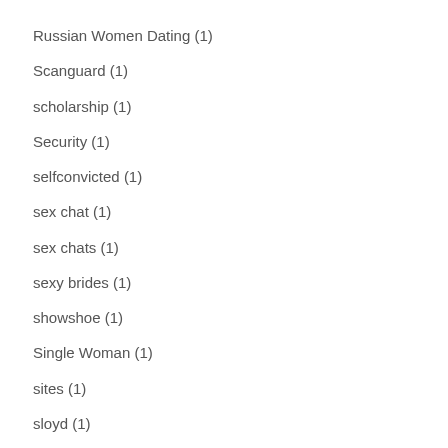Russian Women Dating (1)
Scanguard (1)
scholarship (1)
Security (1)
selfconvicted (1)
sex chat (1)
sex chats (1)
sexy brides (1)
showshoe (1)
Single Woman (1)
sites (1)
sloyd (1)
Software blog (1)
spillehallendk.com (1)
sublunary (1)